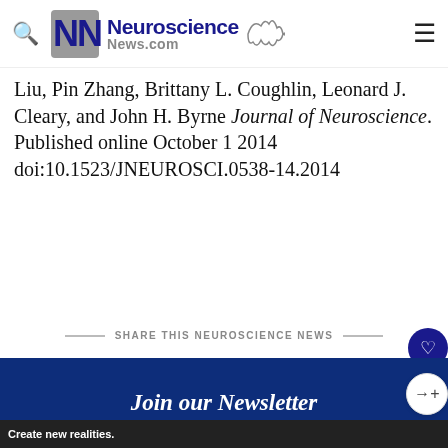Neuroscience News.com
Liu, Pin Zhang, Brittany L. Coughlin, Leonard J. Cleary, and John H. Byrne Journal of Neuroscience. Published online October 1 2014 doi:10.1523/JNEUROSCI.0538-14.2014
SHARE THIS NEUROSCIENCE NEWS
Join our Newsletter